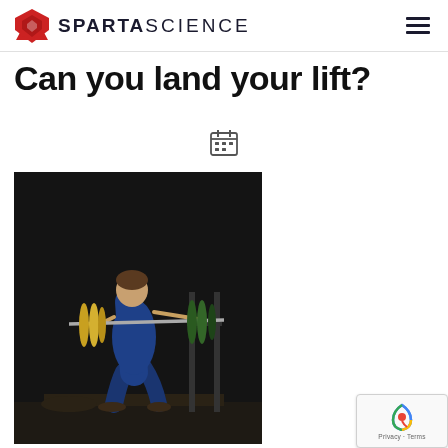SPARTA SCIENCE
Can you land your lift?
[Figure (photo): Calendar icon]
[Figure (photo): Athlete performing an Olympic weightlifting movement (clean or snatch) on a platform in a dark gym, holding a loaded barbell with yellow and green weight plates, wearing a blue jacket and shorts.]